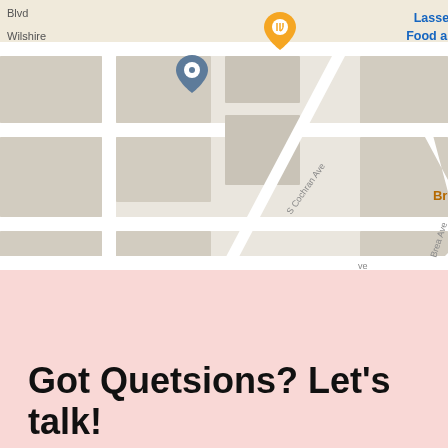[Figure (map): Google Maps screenshot showing a street map area with Wilshire Blvd, S Cochran Ave, Brea Ave, W 9th St. Location pins visible for Lassens Natural Food and Vitamins (blue), All Season Brewing Company (orange), Wilshire Dog Re... (green), and two other pins.]
Got Quetsions? Let's talk!